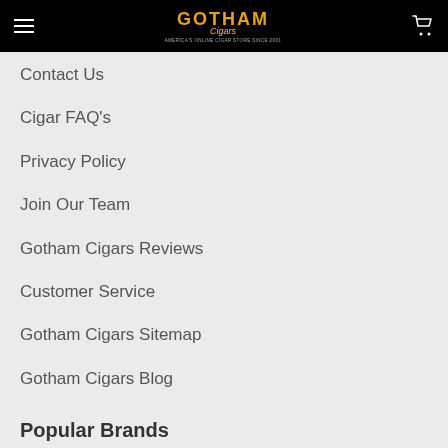Gotham Cigars — AMERICA'S ONLINE CIGAR STORE SINCE 2001
Contact Us
Cigar FAQ's
Privacy Policy
Join Our Team
Gotham Cigars Reviews
Customer Service
Gotham Cigars Sitemap
Gotham Cigars Blog
Sitemap
Popular Brands